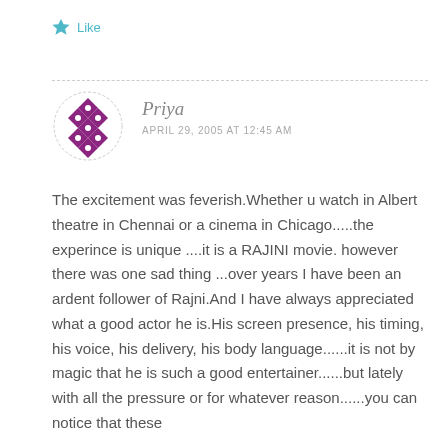Like
Priya
APRIL 29, 2005 AT 12:45 AM
The excitement was feverish.Whether u watch in Albert theatre in Chennai or a cinema in Chicago.....the experince is unique ....it is a RAJINI movie. however there was one sad thing ...over years I have been an ardent follower of Rajni.And I have always appreciated what a good actor he is.His screen presence, his timing, his voice, his delivery, his body language......it is not by magic that he is such a good entertainer......but lately with all the pressure or for whatever reason......you can notice that these